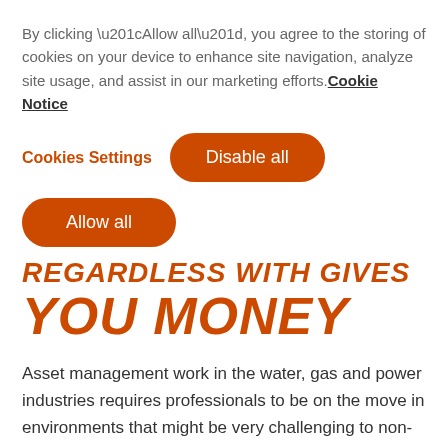By clicking “Allow all”, you agree to the storing of cookies on your device to enhance site navigation, analyze site usage, and assist in our marketing efforts. Cookie Notice
Cookies Settings
Disable all
Allow all
REGARDLESS WITH GIVES YOU MONEY
Asset management work in the water, gas and power industries requires professionals to be on the move in environments that might be very challenging to non-rugged business tablets or laptops. Our solutions are inherently rugged,